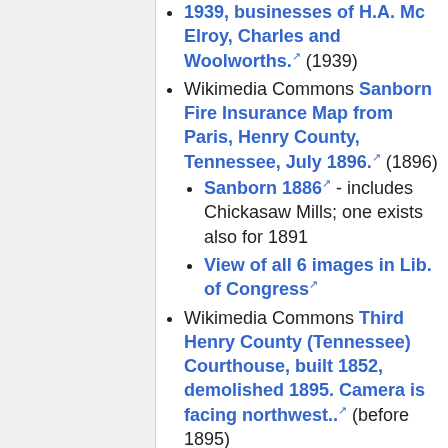1939, businesses of H.A. Mc Elroy, Charles and Woolworths.⧄ (1939)
Wikimedia Commons Sanborn Fire Insurance Map from Paris, Henry County, Tennessee, July 1896.⧄ (1896)
Sanborn 1886⧄ - includes Chickasaw Mills; one exists also for 1891
View of all 6 images in Lib. of Congress⧄
Wikimedia Commons Third Henry County (Tennessee) Courthouse, built 1852, demolished 1895. Camera is facing northwest..⧄ (before 1895)
Wikimedia Commons General land use map, Henry County, Tennessee⧄ (1981)